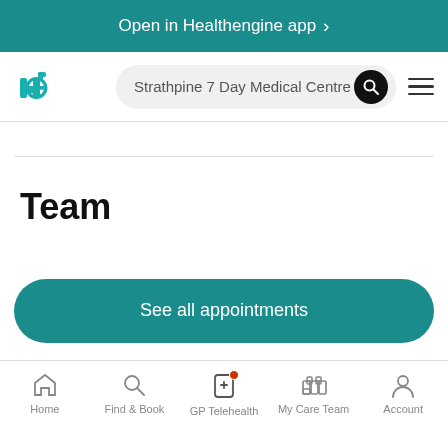Open in Healthengine app >
[Figure (screenshot): Healthengine app navigation bar with logo, search field showing 'Strathpine 7 Day Medical Centre', search button, and hamburger menu]
Team
See all appointments
Home | Find & Book | GP Telehealth | My Care Team | Account